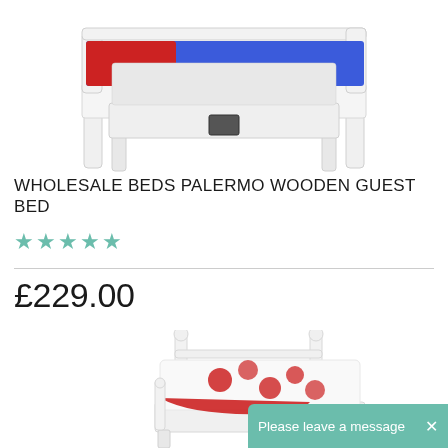[Figure (photo): White wooden guest bed frame (pull-out style) with blue and red bedding, photographed on white background]
WHOLESALE BEDS PALERMO WOODEN GUEST BED
★★★★★
£229.00
[Figure (photo): White wooden single bed with ornate headboard and footboard, dressed with red poppy print white bedding and red throw]
Please leave a message